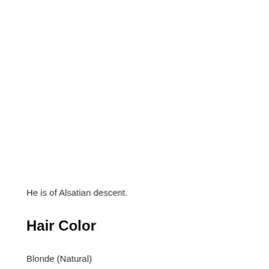He is of Alsatian descent.
Hair Color
Blonde (Natural)